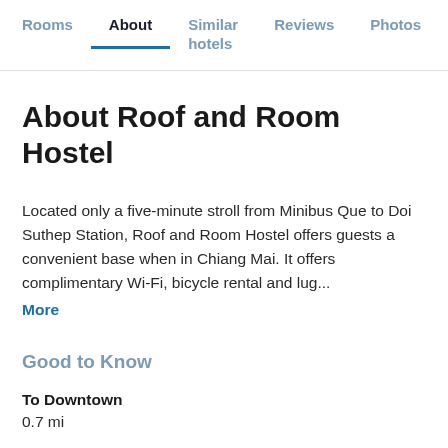Rooms | About | Similar hotels | Reviews | Photos | Loca...
About Roof and Room Hostel
Located only a five-minute stroll from Minibus Que to Doi Suthep Station, Roof and Room Hostel offers guests a convenient base when in Chiang Mai. It offers complimentary Wi-Fi, bicycle rental and lug...
More
Good to Know
To Downtown
0.7 mi
Policies